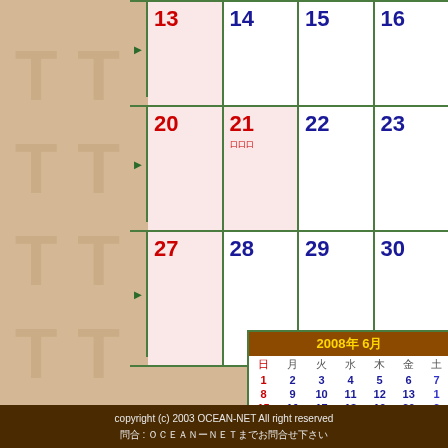[Figure (other): Partial monthly calendar showing dates 13-16, 20-23, 27-30 with pink highlighted Sunday/Monday columns. Arrow markers on left side. Date 21 has a small note in red Japanese characters.]
[Figure (other): Mini calendar for June 2008 (2008年6月) with brown header, showing dates 1-30 arranged in weekly rows with Sunday in red.]
copyright (c) 2003 OCEAN-NET All right reserved
問合 : ＯＣＥＡＮーＮＥＴまでお問合せ下さい